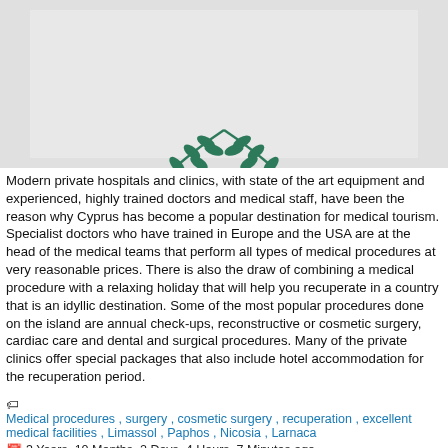[Figure (photo): Photo of Cyprus flag or olive/laurel branch wreath on white background]
Modern private hospitals and clinics, with state of the art equipment and experienced, highly trained doctors and medical staff, have been the reason why Cyprus has become a popular destination for medical tourism. Specialist doctors who have trained in Europe and the USA are at the head of the medical teams that perform all types of medical procedures at very reasonable prices. There is also the draw of combining a medical procedure with a relaxing holiday that will help you recuperate in a country that is an idyllic destination. Some of the most popular procedures done on the island are annual check-ups, reconstructive or cosmetic surgery, cardiac care and dental and surgical procedures. Many of the private clinics offer special packages that also include hotel accommodation for the recuperation period.
Medical procedures , surgery , cosmetic surgery , recuperation , excellent medical facilities , Limassol , Paphos , Nicosia , Larnaca
3 Years, 10 Months, 2 Days, 4 Hours, 7 Minutes ago
Casinos in Cyprus
[Figure (photo): Photo of a golden casino roulette or decorative lamp on dark background]